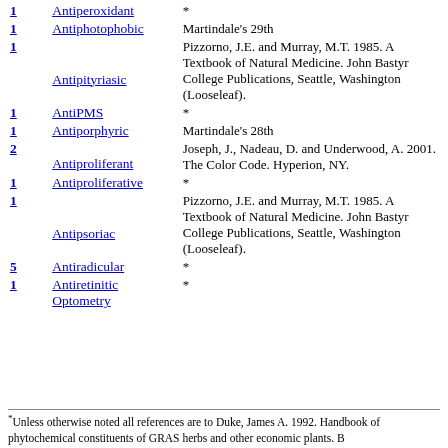1 | Antiperoxidant | *
1 | Antiphotophobic | Martindale's 29th
1 | Antipityriasic | Pizzorno, J.E. and Murray, M.T. 1985. A Textbook of Natural Medicine. John Bastyr College Publications, Seattle, Washington (Looseleaf).
1 | AntiPMS | *
1 | Antiporphyric | Martindale's 28th
2 | Antiproliferant | Joseph, J., Nadeau, D. and Underwood, A. 2001. The Color Code. Hyperion, NY.
1 | Antiproliferative | *
1 | Antipsoriac | Pizzorno, J.E. and Murray, M.T. 1985. A Textbook of Natural Medicine. John Bastyr College Publications, Seattle, Washington (Looseleaf).
5 | Antiradicular | *
1 | Antiretinitic Optometry | *
*Unless otherwise noted all references are to Duke, James A. 1992. Handbook of phytochemical constituents of GRAS herbs and other economic plants. B...